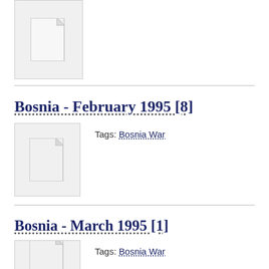[Figure (illustration): Document thumbnail icon showing a blank white page with folded corner, inside a light gray bordered box]
Bosnia - February 1995 [8]
[Figure (illustration): Document thumbnail icon showing a blank white page with folded corner, inside a light gray bordered box]
Tags: Bosnia War
Bosnia - March 1995 [1]
[Figure (illustration): Document thumbnail icon showing a blank white page with folded corner, inside a light gray bordered box (partially visible)]
Tags: Bosnia War